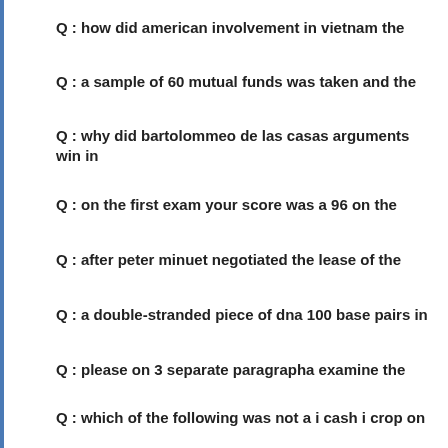Q : how did american involvement in vietnam the
Q : a sample of 60 mutual funds was taken and the
Q : why did bartolommeo de las casas arguments win in
Q : on the first exam your score was a 96 on the
Q : after peter minuet negotiated the lease of the
Q : a double-stranded piece of dna 100 base pairs in
Q : please on 3 separate paragrapha examine the
Q : which of the following was not a i cash i crop on